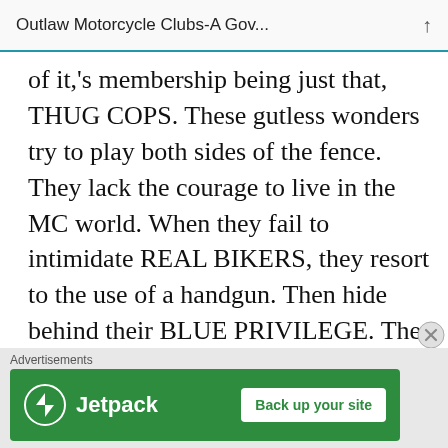Outlaw Motorcycle Clubs-A Gov...
of it,'s membership being just that, THUG COPS. These gutless wonders try to play both sides of the fence. They lack the courage to live in the MC world. When they fail to intimidate REAL BIKERS, they resort to the use of a handgun. Then hide behind their BLUE PRIVILEGE. The COC of every state should make open war on the Iron Order. Now if that offends you, I think there is a Vespa with your name
Advertisements
[Figure (screenshot): Jetpack advertisement banner with green background, Jetpack logo on the left and 'Back up your site' button on the right]